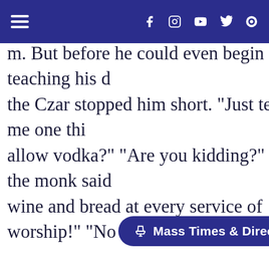[Navigation bar with hamburger menu and social icons: Facebook, Instagram, YouTube, Twitter, Rumble]
m. But before he could even begin teaching his d the Czar stopped him short. "Just tell me one thi allow vodka?" "Are you kidding?" the monk said wine and bread at every service of worship!" "No am!" proclaimed the Czar, "I am a Christian! Bap my people." One can imagine that he also ordere the vodka in celebration. Now there are some – p use this story of Jesus turning the water into win showing that Jesus didn't have anything against a true it's the wrong emphases to place on the stor verse 11: Jesus did this as the beginning of his sig and so revealed an The miracle was a sign to reveal Christ's glory. It
Mass Times & Directions